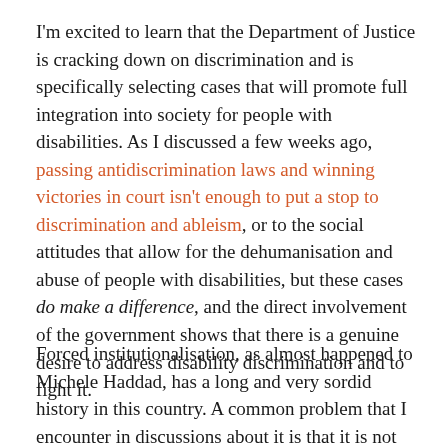I'm excited to learn that the Department of Justice is cracking down on discrimination and is specifically selecting cases that will promote full integration into society for people with disabilities. As I discussed a few weeks ago, passing antidiscrimination laws and winning victories in court isn't enough to put a stop to discrimination and ableism, or to the social attitudes that allow for the dehumanisation and abuse of people with disabilities, but these cases do make a difference, and the direct involvement of the government shows that there is a genuine desire to address disability discrimination and to fight it.
Forced institutionalisation, as almost happened to Michele Haddad, has a long and very sordid history in this country. A common problem that I encounter in discussions about it is that it is not always recognised as such. The Haddad case seems fairly clear-cut: She clearly stated that she wanted